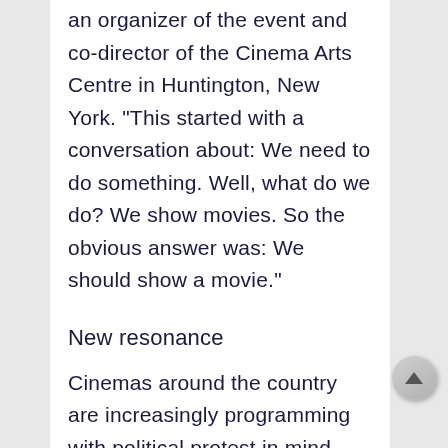an organizer of the event and co-director of the Cinema Arts Centre in Huntington, New York. “This started with a conversation about: We need to do something. Well, what do we do? We show movies. So the obvious answer was: We should show a movie.”
New resonance
Cinemas around the country are increasingly programming with political protest in mind, playing movies that have newfound